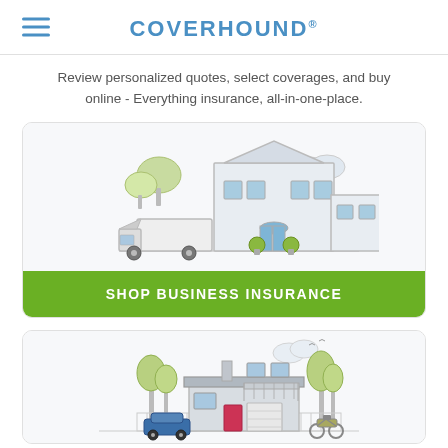COVERHOUND
Review personalized quotes, select coverages, and buy online - Everything insurance, all-in-one-place.
[Figure (illustration): Illustration of a commercial building with a delivery truck parked in front, trees on either side]
SHOP BUSINESS INSURANCE
[Figure (illustration): Illustration of a house with a car and motorcycle in the driveway, trees in background]